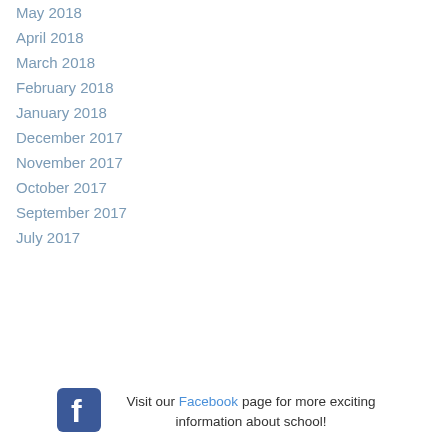May 2018
April 2018
March 2018
February 2018
January 2018
December 2017
November 2017
October 2017
September 2017
July 2017
Visit our Facebook page for more exciting information about school!